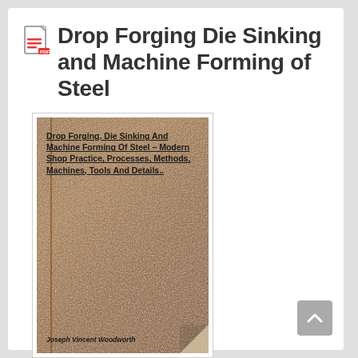Drop Forging Die Sinking and Machine Forming of Steel
[Figure (photo): Book cover of 'Drop Forging, Die Sinking And Machine Forming Of Steel – Modern Shop Practice, Processes, Methods, Machines, Tools And Details..' by Joseph Vincent Woodworth. Brown leather-textured cover with title text in bold and author name at the bottom, with a page curl at the bottom-right corner.]
Author : Joseph Vincent Woodworth
Publisher : Frederiksen Press
Release : 1911